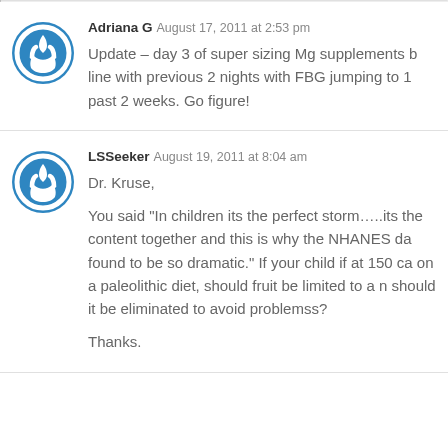Adriana G  August 17, 2011 at 2:53 pm
Update – day 3 of super sizing Mg supplements b line with previous 2 nights with FBG jumping to 1 past 2 weeks. Go figure!
LSSeeker  August 19, 2011 at 8:04 am
Dr. Kruse,

You said "In children its the perfect storm.....its the content together and this is why the NHANES da found to be so dramatic." If your child if at 150 ca on a paleolithic diet, should fruit be limited to a n should it be eliminated to avoid problemss?

Thanks.